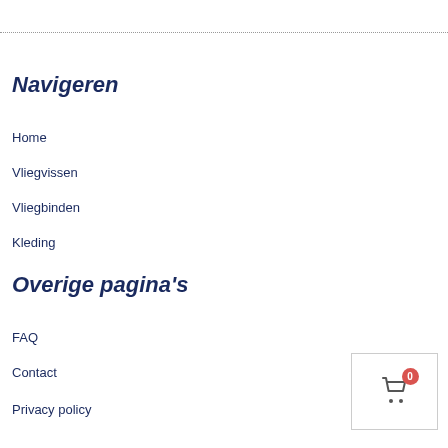Navigeren
Home
Vliegvissen
Vliegbinden
Kleding
Overige pagina's
FAQ
Contact
Privacy policy